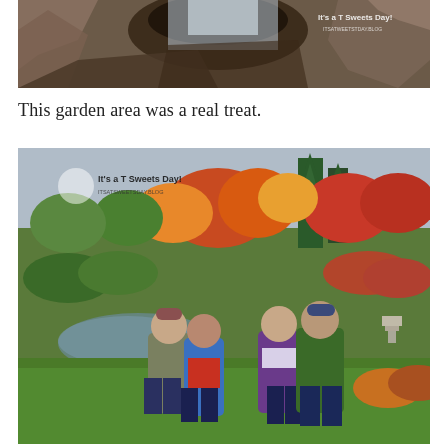[Figure (photo): Top portion of a photo showing rocky cave/rock formation with a waterfall, with 'It's a T Sweets Day!' watermark text visible in upper right corner]
This garden area was a real treat.
[Figure (photo): Four adults posing in a colorful autumn garden with trees showing fall foliage in reds, oranges and greens, with a pond visible behind them. 'It's a T Sweets Day!' watermark in upper left corner.]